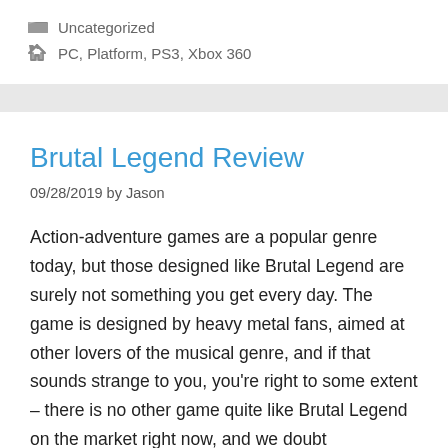Uncategorized
PC, Platform, PS3, Xbox 360
Brutal Legend Review
09/28/2019 by Jason
Action-adventure games are a popular genre today, but those designed like Brutal Legend are surely not something you get every day. The game is designed by heavy metal fans, aimed at other lovers of the musical genre, and if that sounds strange to you, you're right to some extent – there is no other game quite like Brutal Legend on the market right now, and we doubt